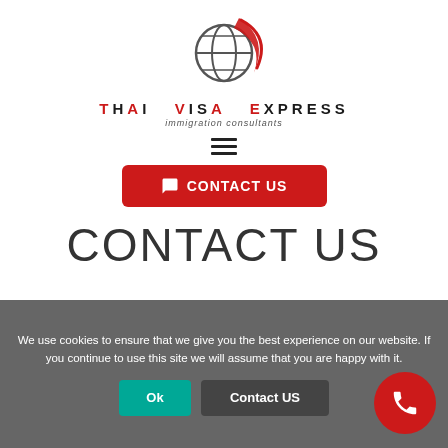[Figure (logo): Thai Visa Express logo — globe with red swoosh and brand name 'THAI VISA EXPRESS' with tagline 'immigration consultants']
[Figure (other): Hamburger menu icon with three horizontal dark bars]
CONTACT US
CONTACT US
We use cookies to ensure that we give you the best experience on our website. If you continue to use this site we will assume that you are happy with it.
Ok
Contact US